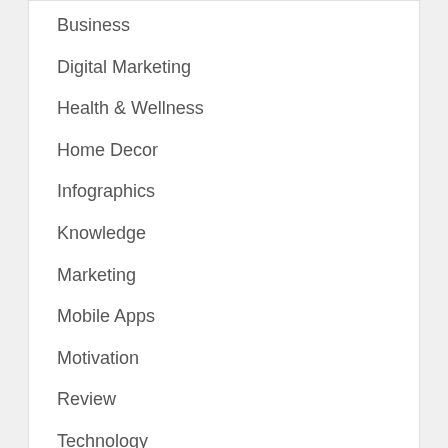Business
Digital Marketing
Health & Wellness
Home Decor
Infographics
Knowledge
Marketing
Mobile Apps
Motivation
Review
Technology
Travel
Tv Showz
You may Missed
[Figure (photo): Dark gray image placeholder at bottom of page]